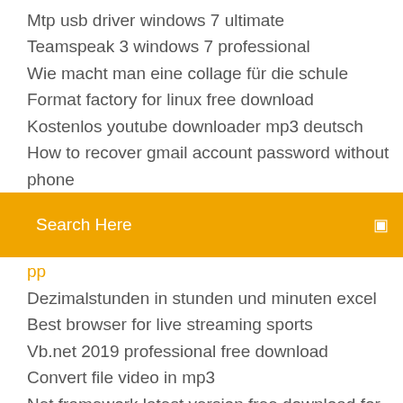Mtp usb driver windows 7 ultimate
Teamspeak 3 windows 7 professional
Wie macht man eine collage für die schule
Format factory for linux free download
Kostenlos youtube downloader mp3 deutsch
How to recover gmail account password without phone
[Figure (screenshot): Orange search bar with text 'Search Here' and a search icon on the right]
Dezimalstunden in stunden und minuten excel
Best browser for live streaming sports
Vb.net 2019 professional free download
Convert file video in mp3
Net framework latest version free download for windows 10 64 bit
Hat aldi nord einen online shop
Windows 8 iso download kostenlos
Windows 10 startet nicht mehr schwarzer bildschirm
How to sync fitbit ionic to computer